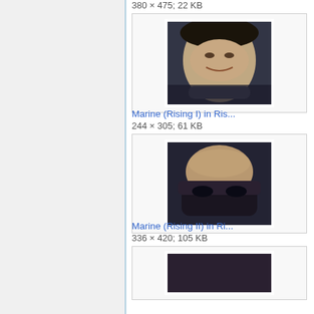380 × 475; 22 KB
[Figure (photo): Thumbnail of a man's face, dark background, appears to be a movie still]
Marine (Rising I) in Ris...
244 × 305; 61 KB
[Figure (photo): Thumbnail of a bald man from above with a mask/device around his head, movie still]
Marine (Rising II) in Ri...
336 × 420; 105 KB